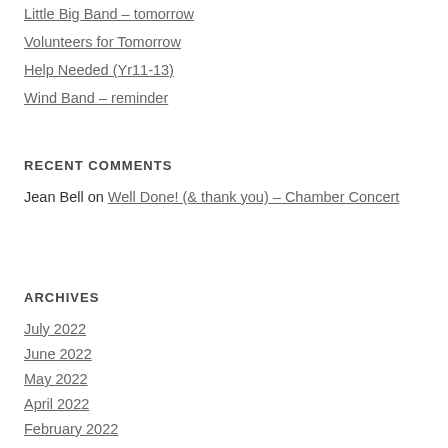Little Big Band – tomorrow
Volunteers for Tomorrow
Help Needed (Yr11-13)
Wind Band – reminder
RECENT COMMENTS
Jean Bell on Well Done! (& thank you) – Chamber Concert
ARCHIVES
July 2022
June 2022
May 2022
April 2022
February 2022